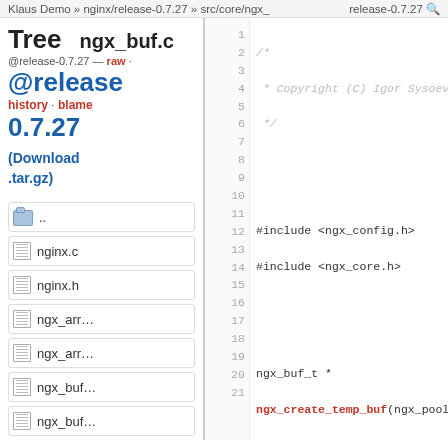Klaus Demo » nginx/release-0.7.27 » src/core/ngx_   release-0.7.27
Tree   ngx_buf.c @release-0.7.27 — raw · @release- history · blame
0.7.27
(Download .tar.gz)
..
nginx.c
nginx.h
ngx_arr…
ngx_arr…
ngx_buf…
ngx_buf…
ngx_con…
[Figure (screenshot): Code viewer showing ngx_buf.c source file lines 1-21 with syntax highlighting]